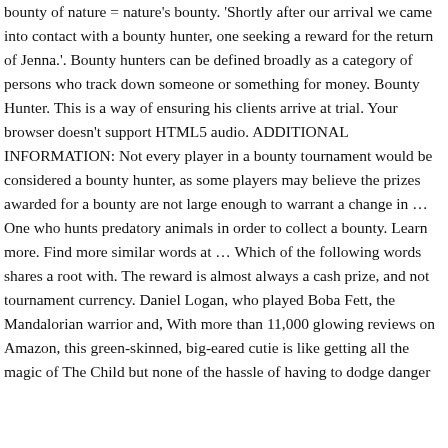bounty of nature = nature's bounty. 'Shortly after our arrival we came into contact with a bounty hunter, one seeking a reward for the return of Jenna.'. Bounty hunters can be defined broadly as a category of persons who track down someone or something for money. Bounty Hunter. This is a way of ensuring his clients arrive at trial. Your browser doesn't support HTML5 audio. ADDITIONAL INFORMATION: Not every player in a bounty tournament would be considered a bounty hunter, as some players may believe the prizes awarded for a bounty are not large enough to warrant a change in … One who hunts predatory animals in order to collect a bounty. Learn more. Find more similar words at … Which of the following words shares a root with. The reward is almost always a cash prize, and not tournament currency. Daniel Logan, who played Boba Fett, the Mandalorian warrior and, With more than 11,000 glowing reviews on Amazon, this green-skinned, big-eared cutie is like getting all the magic of The Child but none of the hassle of having to dodge danger